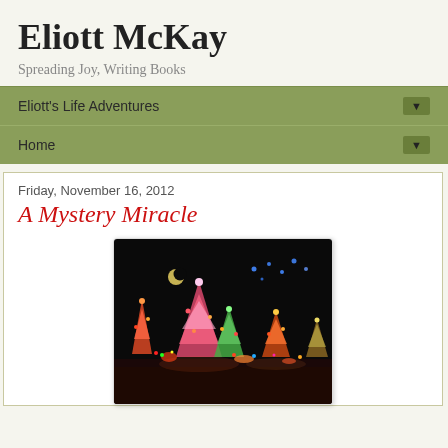Eliott McKay
Spreading Joy, Writing Books
Eliott's Life Adventures ▼
Home ▼
Friday, November 16, 2012
A Mystery Miracle
[Figure (photo): Nighttime photo of colorful illuminated Christmas tree decorations and figurines against a dark background, with a crescent moon visible]